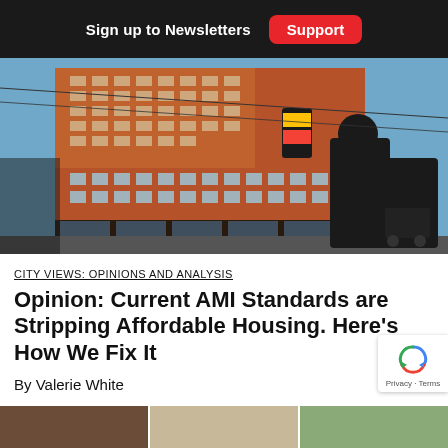Sign up to Newsletters   Support
[Figure (photo): Street-level photo of a large red-brick apartment building at a city intersection, with people crossing the street in silhouette against a blue sky. Power lines and a traffic light visible.]
CITY VIEWS: OPINIONS AND ANALYSIS
Opinion: Current AMI Standards are Stripping Affordable Housing. Here's How We Fix It
By Valerie White
[Figure (photo): Partial bottom strip showing the beginning of another photo below the article header.]